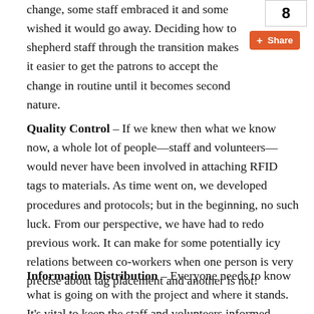8
change, some staff embraced it and some wished it would go away. Deciding how to shepherd staff through the transition makes it easier to get the patrons to accept the change in routine until it becomes second nature.
Quality Control – If we knew then what we know now, a whole lot of people—staff and volunteers—would never have been involved in attaching RFID tags to materials. As time went on, we developed procedures and protocols; but in the beginning, no such luck. From our perspective, we have had to redo previous work. It can make for some potentially icy relations between co-workers when one person is very precise about tag placement and another is not!
Information Distribution – Everyone needs to know what is going on with the project and where it stands. It's vital to keep the staff and volunteers informed. While it may seem obvious to